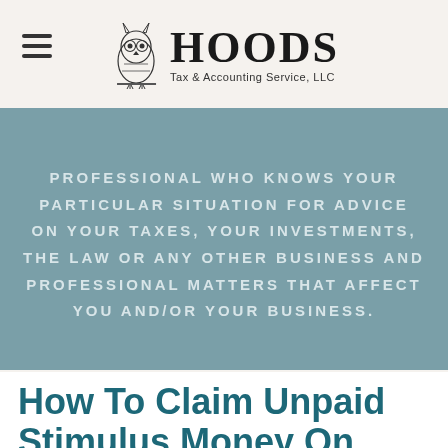HOODS Tax & Accounting Service, LLC
PROFESSIONAL WHO KNOWS YOUR PARTICULAR SITUATION FOR ADVICE ON YOUR TAXES, YOUR INVESTMENTS, THE LAW OR ANY OTHER BUSINESS AND PROFESSIONAL MATTERS THAT AFFECT YOU AND/OR YOUR BUSINESS.
How To Claim Unpaid Stimulus Money On Your 2020 Tax Return